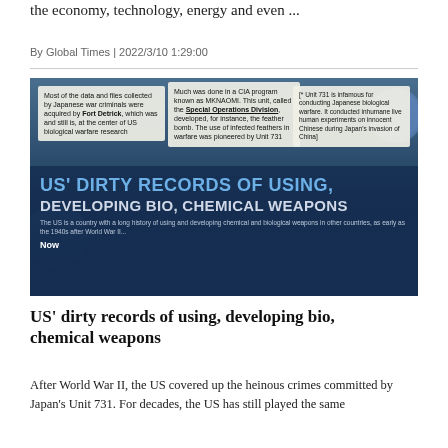the economy, technology, energy and even ...
By Global Times | 2022/3/10 1:29:00
[Figure (infographic): Infographic titled 'US' DIRTY RECORDS OF USING, DEVELOPING BIO, CHEMICAL WEAPONS' with three note boxes describing CIA program MKNAOMI, Fort Detrick, and Unit 731, on a dark blue background with biological cell imagery.]
US' dirty records of using, developing bio, chemical weapons
After World War II, the US covered up the heinous crimes committed by Japan's Unit 731. For decades, the US has still played the same